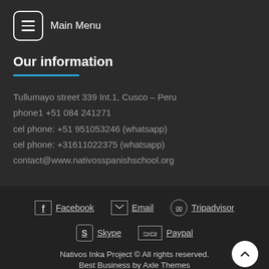Main Menu
Our information
Tullumayo street 339 Int.1, Cusco – Peru
phone1 +51 084 241271
cel phone: +51 951053246 (whatsapp)
cel phone: +31611022375 (whatsapp)
contact@www.nativosspanishschool.org
Facebook  Email  Tripadvisor  Skype  Paypal
Nativos Inka Project © All rights reserved.
Best Business by Axle Themes